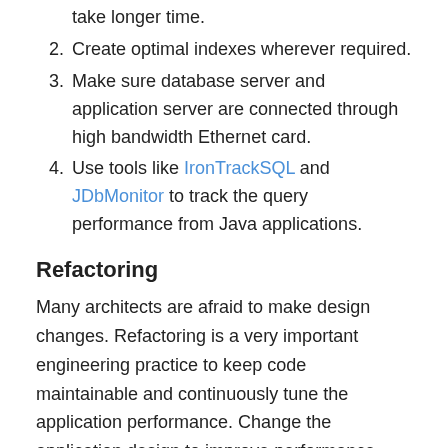take longer time.
Create optimal indexes wherever required.
Make sure database server and application server are connected through high bandwidth Ethernet card.
Use tools like IronTrackSQL and JDbMonitor to track the query performance from Java applications.
Refactoring
Many architects are afraid to make design changes. Refactoring is a very important engineering practice to keep code maintainable and continuously tune the application performance. Change the application design to improve performance. Make sure the following designs are good, if not refactor:
Authentication technique – the amount of time taken to